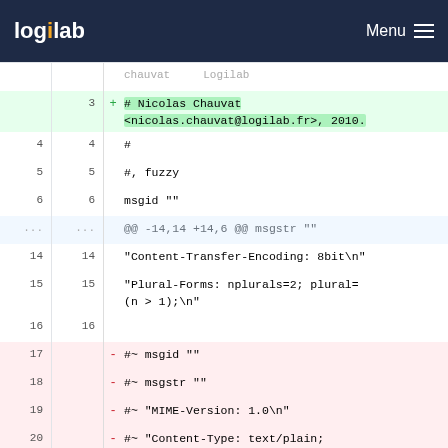Logilab  Menu
[Figure (screenshot): Git diff view showing code changes. Lines 3 added (green): '# Nicolas Chauvat <nicolas.chauvat@logilab.fr>, 2010.' Lines 4-6 context: '#', '#, fuzzy', 'msgid ""'. Hunk header: '@@ -14,14 +14,6 @@ msgstr ""'. Lines 14-16 context. Lines 17-23 removed (red): '#~ msgid ""', '#~ msgstr ""', '#~ "MIME-Version: 1.0\n"', '#~ "Content-Type: text/plain; charset=UTF-8\n"', '#~ "Content-Transfer-Encoding: 8bit\n"', '#~ "Generated-By: pygettext.py 1.5\n"', '#~ "Plural-Forms: nplurals=2;'.]